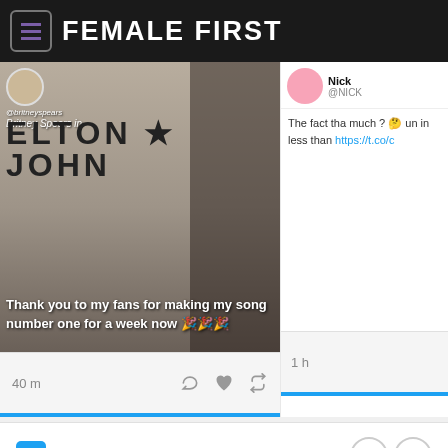FEMALE FIRST
[Figure (screenshot): Tweet from Britney Spears (@britneyspears) showing Elton John branding with overlay text: 'Thank you to my fans for making my song number one for a week now 🎉🎉🎉']
40 m
Nick @NICK — The fact tha much ? 🤔 un in less than https://t.co/c
1 h
CROWDYNEWS